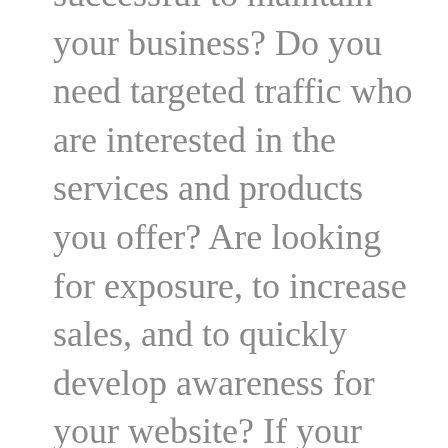successful to maintain your business? Do you need targeted traffic who are interested in the services and products you offer? Are looking for exposure, to increase sales, and to quickly develop awareness for your website? If your answer is YES, you can achieve these things only if you get your website on the network I am talking about. This traffic service advertises you to thousands, while also giving you a chance to test the network before paying anything at all. All the popular sites are using this service to boost their traffic and ad revenue! Why aren't you? And what is better than traffic? It's recurring traffic! That's how running a successful site works… Here's to your success! Read more here: